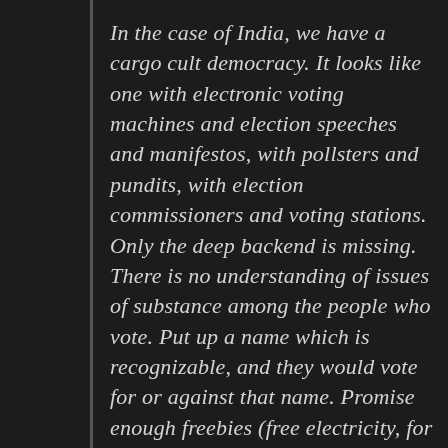In the case of India, we have a cargo cult democracy. It looks like one with electronic voting machines and election speeches and manifestos, with pollsters and pundits, with election commissioners and voting stations. Only the deep backend is missing. There is no understanding of issues of substance among the people who vote. Put up a name which is recognizable, and they would vote for or against that name. Promise enough freebies (free electricity, for instance) and they will vote for you, never mind that it may bankrupt the state and that